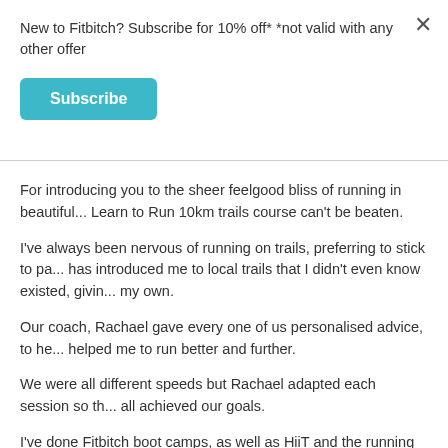New to Fitbitch? Subscribe for 10% off* *not valid with any other offer
Subscribe
For introducing you to the sheer feelgood bliss of running in beautiful... Learn to Run 10km trails course can't be beaten.
I've always been nervous of running on trails, preferring to stick to pa... has introduced me to local trails that I didn't even know existed, givin... my own.
Our coach, Rachael gave every one of us personalised advice, to he... helped me to run better and further.
We were all different speeds but Rachael adapted each session so th... all achieved our goals.
I've done Fitbitch boot camps, as well as HiiT and the running club, a... from everyone involved in incredible.